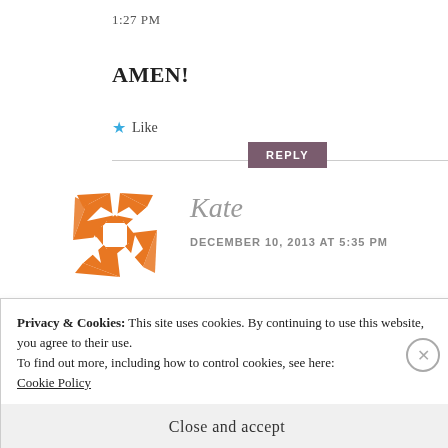1:27 PM
AMEN!
★ Like
REPLY
[Figure (illustration): Orange and white geometric snowflake/kaleidoscope avatar circle for user Kate]
Kate
DECEMBER 10, 2013 AT 5:35 PM
Privacy & Cookies: This site uses cookies. By continuing to use this website, you agree to their use.
To find out more, including how to control cookies, see here:
Cookie Policy
Close and accept